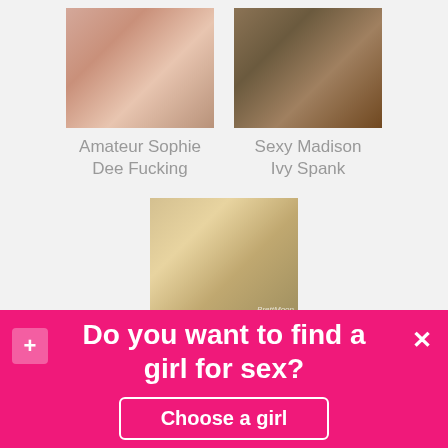[Figure (photo): Thumbnail image 1 - Adult content placeholder]
Amateur Sophie Dee Fucking
[Figure (photo): Thumbnail image 2 - Adult content placeholder]
Sexy Madison Ivy Spank
[Figure (photo): Thumbnail image 3 - Adult content placeholder with BrettMoon watermark]
Nude Bree Olson Femdom
Do you want to find a girl for sex?
Choose a girl